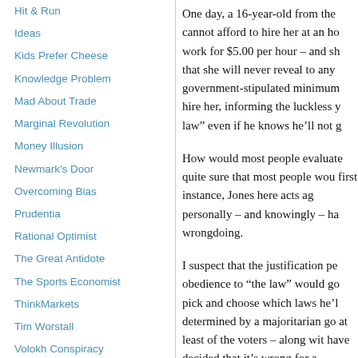Hit & Run
Ideas
Kids Prefer Cheese
Knowledge Problem
Mad About Trade
Marginal Revolution
Money Illusion
Newmark's Door
Overcoming Bias
Prudentia
Rational Optimist
The Great Antidote
The Sports Economist
ThinkMarkets
Tim Worstall
Volokh Conspiracy
One day, a 16-year-old from the cannot afford to hire her at an ho work for $5.00 per hour – and sh that she will never reveal to any government-stipulated minimum hire her, informing the luckless y law” even if he knows he’ll not g
How would most people evaluate quite sure that most people wou first instance, Jones here acts ag personally – and knowingly – ha wrongdoing.
I suspect that the justification pe obedience to “the law” would go pick and choose which laws he’l determined by a majoritarian go at least of the voters – along wit have decided that it’s wrong for a